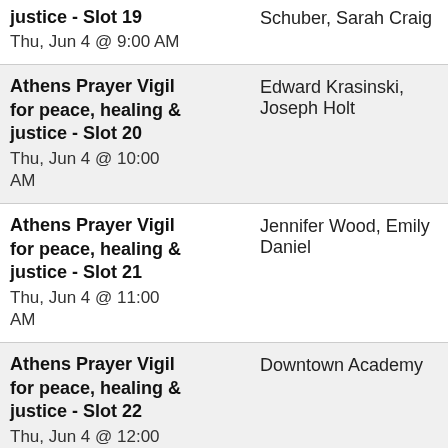Athens Prayer Vigil for peace, healing & justice - Slot 19
Thu, Jun 4 @ 9:00 AM
Schuber, Sarah Craig
Athens Prayer Vigil for peace, healing & justice - Slot 20
Thu, Jun 4 @ 10:00 AM
Edward Krasinski, Joseph Holt
Athens Prayer Vigil for peace, healing & justice - Slot 21
Thu, Jun 4 @ 11:00 AM
Jennifer Wood, Emily Daniel
Athens Prayer Vigil for peace, healing & justice - Slot 22
Thu, Jun 4 @ 12:00 PM
Downtown Academy